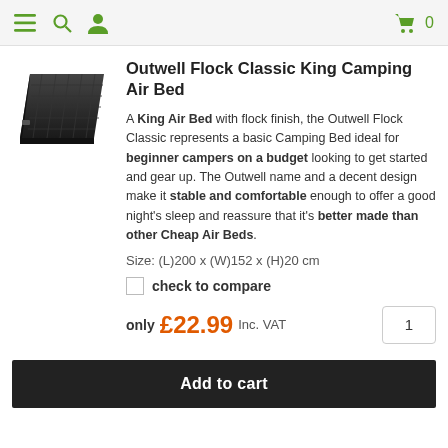Navigation bar with menu, search, user icons and cart (0)
[Figure (photo): Black Outwell Flock Classic King Camping Air Bed product photo on dark background]
Outwell Flock Classic King Camping Air Bed
A King Air Bed with flock finish, the Outwell Flock Classic represents a basic Camping Bed ideal for beginner campers on a budget looking to get started and gear up. The Outwell name and a decent design make it stable and comfortable enough to offer a good night's sleep and reassure that it's better made than other Cheap Air Beds.
Size: (L)200 x (W)152 x (H)20 cm
check to compare
only £22.99 Inc. VAT
Add to cart